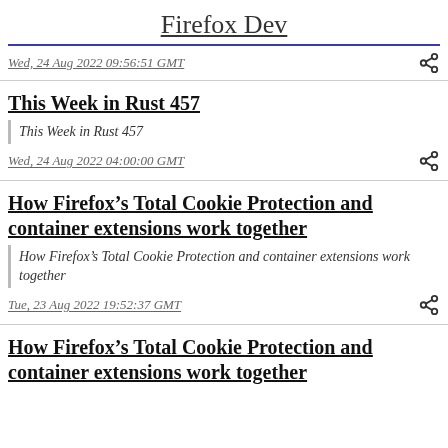Firefox Dev
Wed, 24 Aug 2022 09:56:51 GMT
This Week in Rust 457
This Week in Rust 457
Wed, 24 Aug 2022 04:00:00 GMT
How Firefox’s Total Cookie Protection and container extensions work together
How Firefox’s Total Cookie Protection and container extensions work together
Tue, 23 Aug 2022 19:52:37 GMT
How Firefox’s Total Cookie Protection and container extensions work together